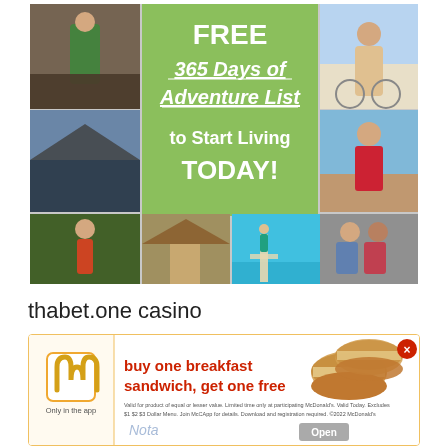[Figure (photo): Collage of adventure travel photos with green center panel reading FREE 365 Days of Adventure List to Start Living TODAY!]
thabet.one casino
[Figure (infographic): McDonald's app advertisement banner: buy one breakfast sandwich, get one free. Only in the app. Fine print about valid for product of equal or lesser value, limited time only at participating McDonald's.]